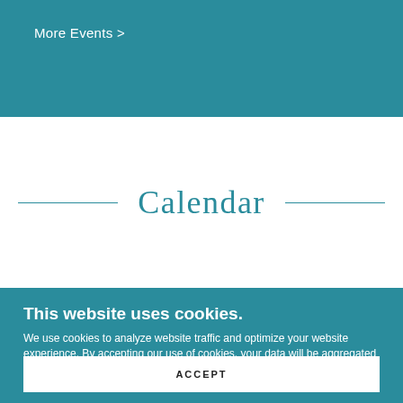More Events >
Calendar
This website uses cookies.
We use cookies to analyze website traffic and optimize your website experience. By accepting our use of cookies, your data will be aggregated with all other user data.
ACCEPT